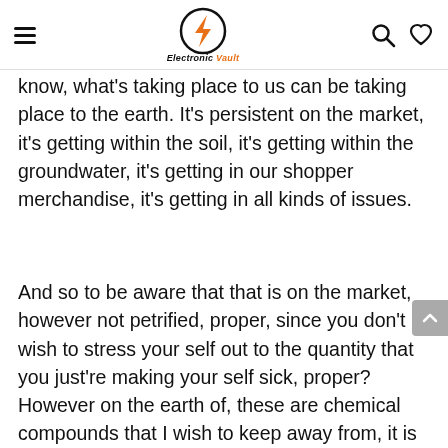Electronic Vault
know, what's taking place to us can be taking place to the earth. It's persistent on the market, it's getting within the soil, it's getting within the groundwater, it's getting in our shopper merchandise, it's getting in all kinds of issues.
And so to be aware that that is on the market, however not petrified, proper, since you don't wish to stress your self out to the quantity that you just're making your self sick, proper? However on the earth of, these are chemical compounds that I wish to keep away from, it is a 10, and this is sort of a 3, PFAS